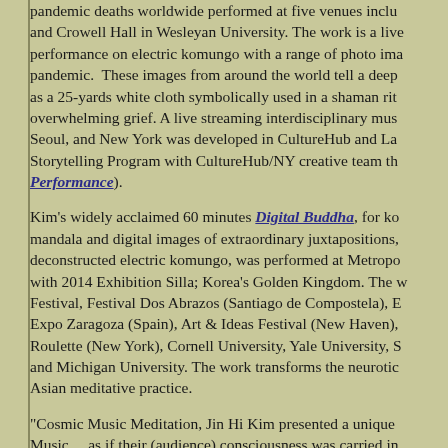pandemic deaths worldwide performed at five venues inclu… and Crowell Hall in Wesleyan University. The work is a live performance on electric komungo with a range of photo ima… pandemic. These images from around the world tell a deep… as a 25-yards white cloth symbolically used in a shaman rit… overwhelming grief. A live streaming interdisciplinary mus… Seoul, and New York was developed in CultureHub and La… Storytelling Program with CultureHub/NY creative team th… Performance).
Kim's widely acclaimed 60 minutes Digital Buddha, for ko… mandala and digital images of extraordinary juxtapositions, deconstructed electric komungo, was performed at Metropo… with 2014 Exhibition Silla; Korea's Golden Kingdom. The w… Festival, Festival Dos Abrazos (Santiago de Compostela), E… Expo Zaragoza (Spain), Art & Ideas Festival (New Haven), Roulette (New York), Cornell University, Yale University, S… and Michigan University. The work transforms the neurotic Asian meditative practice.
"Cosmic Music Meditation, Jin Hi Kim presented a unique Music.....as if their (audience) consciousness was carried in…
She has created an expansive body of experimental cross-cu… direction incorporating Eastern mythology, aesthetics, and r…